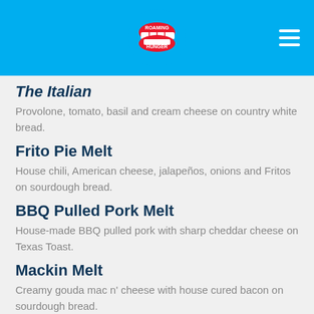Roaming Hunger
The Italian
Provolone, tomato, basil and cream cheese on country white bread.
Frito Pie Melt
House chili, American cheese, jalapeños, onions and Fritos on sourdough bread.
BBQ Pulled Pork Melt
House-made BBQ pulled pork with sharp cheddar cheese on Texas Toast.
Mackin Melt
Creamy gouda mac n' cheese with house cured bacon on sourdough bread.
Grilled Harvest